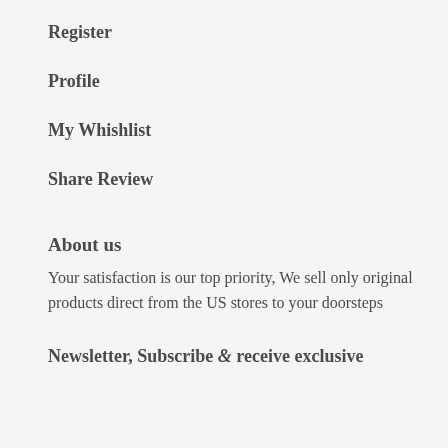Register
Profile
My Whishlist
Share Review
About us
Your satisfaction is our top priority, We sell only original products direct from the US stores to your doorsteps
Newsletter, Subscribe & receive exclusive